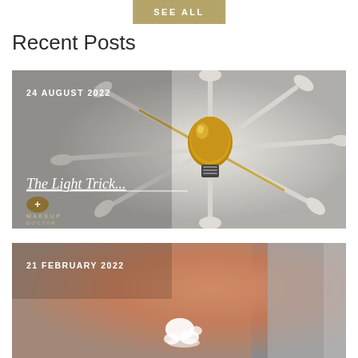SEE ALL
Recent Posts
[Figure (photo): Makeup brushes arranged in a starburst pattern around a gold lightbulb on white background. Overlay text: '24 AUGUST 2022', 'The Light Trick...' with Makeup Doctor logo.]
[Figure (photo): Close-up of skin with white cream/lotion product being applied. Overlay text: '21 FEBRUARY 2022'.]